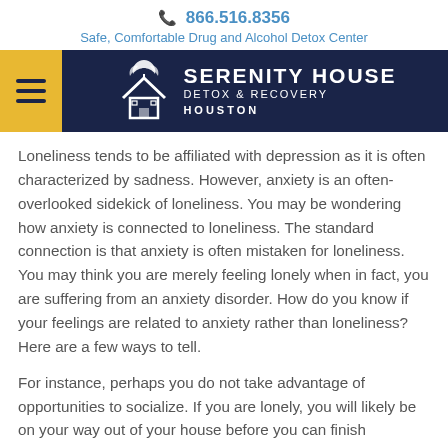📞 866.516.8356
Safe, Comfortable Drug and Alcohol Detox Center
[Figure (logo): Serenity House Detox & Recovery Houston logo with hamburger menu on dark navy background]
Loneliness tends to be affiliated with depression as it is often characterized by sadness. However, anxiety is an often-overlooked sidekick of loneliness. You may be wondering how anxiety is connected to loneliness. The standard connection is that anxiety is often mistaken for loneliness. You may think you are merely feeling lonely when in fact, you are suffering from an anxiety disorder. How do you know if your feelings are related to anxiety rather than loneliness? Here are a few ways to tell.
For instance, perhaps you do not take advantage of opportunities to socialize. If you are lonely, you will likely be on your way out of your house before you can finish